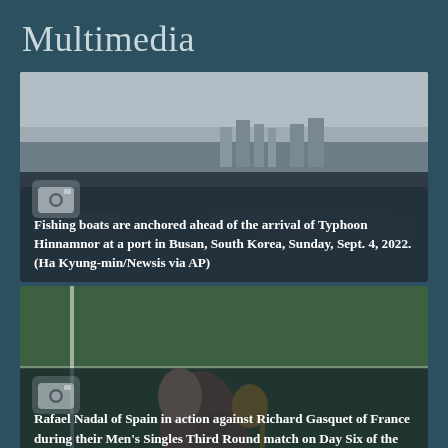Multimedia
[Figure (photo): Fishing boats anchored at a port in Busan, South Korea ahead of Typhoon Hinnamnor]
Fishing boats are anchored ahead of the arrival of Typhoon Hinnamnor at a port in Busan, South Korea, Sunday, Sept. 4, 2022. (Ha Kyung-min/Newsis via AP)
[Figure (photo): Rafael Nadal of Spain in action against Richard Gasquet of France during Men's Singles Third Round match at 2022 US Open]
Rafael Nadal of Spain in action against Richard Gasquet of France during their Men's Singles Third Round match on Day Six of the 2022 US Open on September 03, 2022 in the Flushing neighborhood of the Queens borough of New York City. Julian